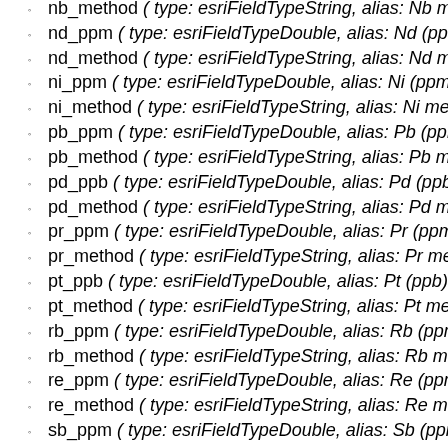nb_method ( type: esriFieldTypeString, alias: Nb method )
nd_ppm ( type: esriFieldTypeDouble, alias: Nd (ppm) )
nd_method ( type: esriFieldTypeString, alias: Nd method )
ni_ppm ( type: esriFieldTypeDouble, alias: Ni (ppm) )
ni_method ( type: esriFieldTypeString, alias: Ni method )
pb_ppm ( type: esriFieldTypeDouble, alias: Pb (ppm) )
pb_method ( type: esriFieldTypeString, alias: Pb method )
pd_ppb ( type: esriFieldTypeDouble, alias: Pd (ppb) )
pd_method ( type: esriFieldTypeString, alias: Pd method )
pr_ppm ( type: esriFieldTypeDouble, alias: Pr (ppm) )
pr_method ( type: esriFieldTypeString, alias: Pr method )
pt_ppb ( type: esriFieldTypeDouble, alias: Pt (ppb) )
pt_method ( type: esriFieldTypeString, alias: Pt method )
rb_ppm ( type: esriFieldTypeDouble, alias: Rb (ppm) )
rb_method ( type: esriFieldTypeString, alias: Rb method )
re_ppm ( type: esriFieldTypeDouble, alias: Re (ppm) )
re_method ( type: esriFieldTypeString, alias: Re method )
sb_ppm ( type: esriFieldTypeDouble, alias: Sb (ppm) )
sb_method ( type: esriFieldTypeString, alias: Sb method )
sc_ppm ( type: esriFieldTypeDouble, alias: Sc (ppm) )
sc_method ( type: esriFieldTypeString, alias: Sc method )
se_ppm ( type: esriFieldTypeDouble, alias: Se (ppm) )
se_method ( type: esriFieldTypeString, alias: Se method )